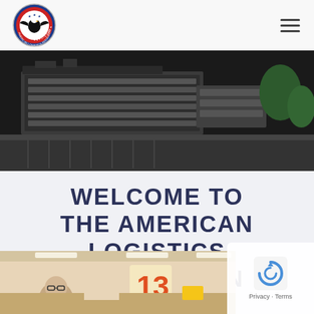[Figure (logo): American Logistics Association circular badge logo with eagle and red/blue colors]
[Figure (photo): Aerial view of a building complex with parking areas and surrounding roads]
WELCOME TO THE AMERICAN LOGISTICS ASSOCIATION
[Figure (photo): Interior photo of a person at a counter or desk, number 3 visible in background]
Privacy · Terms